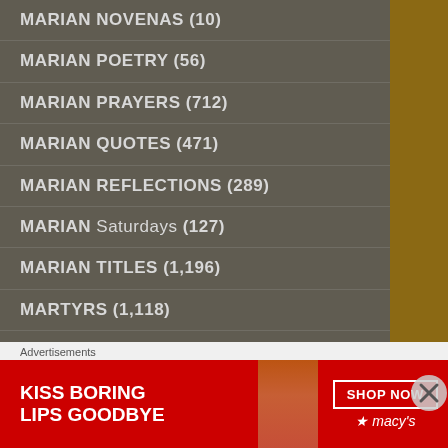MARIAN NOVENAS (10)
MARIAN POETRY (56)
MARIAN PRAYERS (712)
MARIAN QUOTES (471)
MARIAN REFLECTIONS (289)
MARIAN Saturdays (127)
MARIAN TITLES (1,196)
MARTYRS (1,118)
MARY'S MONTH (183)
MARY, MATER ECCLESIAE (23)
MATER DOLOROSA – Mother of SORROWS (84)
Advertisements
[Figure (photo): Red Macy's advertisement banner reading 'KISS BORING LIPS GOODBYE' with a woman's face and red lips, a 'SHOP NOW' button, and Macy's star logo.]